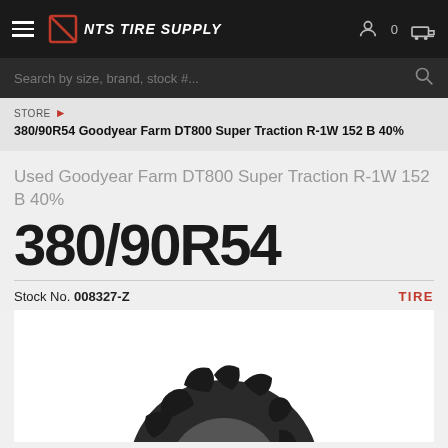NTS TIRE SUPPLY
Search by size, brand, stock #...
STORE > 380/90R54 Goodyear Farm DT800 Super Traction R-1W 152 B 40%
Used Goodyear Farm DT800 Super Traction R-1W 152 B 40%
380/90R54
Stock No. 008327-Z
TIRE
[Figure (photo): Photo of a used Goodyear Farm tractor tire showing tread pattern, partially visible from bottom of frame]